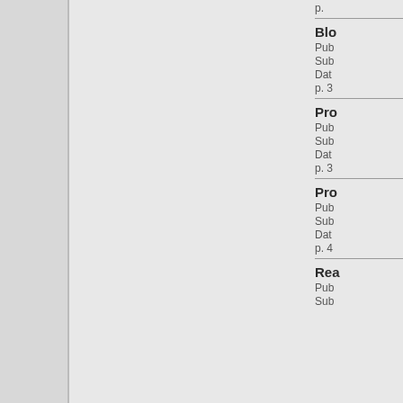p.
Blo
Pub
Sub
Dat
p. 3
Pro
Pub
Sub
Dat
p. 3
Pro
Pub
Sub
Dat
p. 4
Rea
Pub
Sub